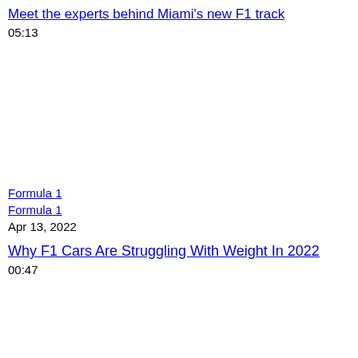Meet the experts behind Miami's new F1 track
05:13
Formula 1
Formula 1
Apr 13, 2022
Why F1 Cars Are Struggling With Weight In 2022
00:47